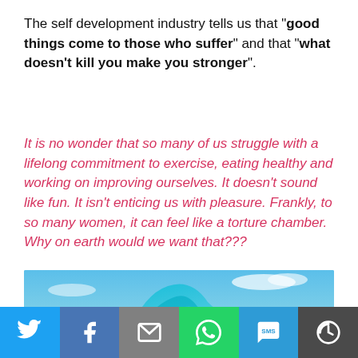The self development industry tells us that "good things come to those who suffer" and that "what doesn't kill you make you stronger".
It is no wonder that so many of us struggle with a lifelong commitment to exercise, eating healthy and working on improving ourselves. It doesn't sound like fun. It isn't enticing us with pleasure. Frankly, to so many women, it can feel like a torture chamber. Why on earth would we want that???
[Figure (photo): Partial photo showing a blue glass ribbon or abstract shape against a blue sky with clouds.]